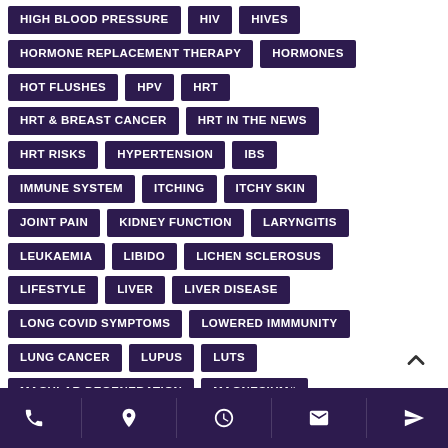HIGH BLOOD PRESSURE
HIV
HIVES
HORMONE REPLACEMENT THERAPY
HORMONES
HOT FLUSHES
HPV
HRT
HRT & BREAST CANCER
HRT IN THE NEWS
HRT RISKS
HYPERTENSION
IBS
IMMUNE SYSTEM
ITCHING
ITCHY SKIN
JOINT PAIN
KIDNEY FUNCTION
LARYNGITIS
LEUKAEMIA
LIBIDO
LICHEN SCLEROSUS
LIFESTYLE
LIVER
LIVER DISEASE
LONG COVID SYMPTOMS
LOWERED IMMMUNITY
LUNG CANCER
LUPUS
LUTS
MACULAR DEGENERATION
MAGNESIUM#
phone | location | clock | email | send